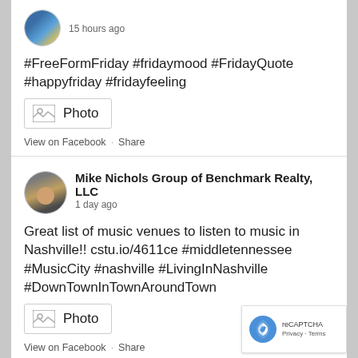[Figure (photo): Circular profile avatar with blue and yellow gradient colors, partially visible at top]
15 hours ago
#FreeFormFriday #fridaymood #FridayQuote #happyfriday #fridayfeeling
[Figure (other): Photo placeholder box with image icon and 'Photo' label]
View on Facebook  ·  Share
[Figure (photo): Circular profile avatar showing a person in a suit, Mike Nichols Group of Benchmark Realty LLC]
Mike Nichols Group of Benchmark Realty, LLC
1 day ago
Great list of music venues to listen to music in Nashville!! cstu.io/4611ce #middletennessee #MusicCity #nashville #LivingInNashville #DownTownInTownAroundTown
[Figure (other): Photo placeholder box with image icon and 'Photo' label]
View on Facebook  ·  Share
[Figure (other): reCAPTCHA badge with Privacy and Terms links]